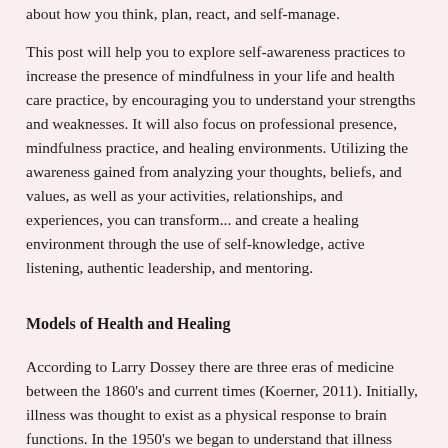about how you think, plan, react, and self-manage.
This post will help you to explore self-awareness practices to increase the presence of mindfulness in your life and health care practice, by encouraging you to understand your strengths and weaknesses. It will also focus on professional presence, mindfulness practice, and healing environments. Utilizing the awareness gained from analyzing your thoughts, beliefs, and values, as well as your activities, relationships, and experiences, you can transform... and create a healing environment through the use of self-knowledge, active listening, authentic leadership, and mentoring.
Models of Health and Healing
According to Larry Dossey there are three eras of medicine between the 1860's and current times (Koerner, 2011). Initially, illness was thought to exist as a physical response to brain functions. In the 1950's we began to understand that illness presented with the culmination of physical, emotional, spiritual and mental aspects, internal to the patient.